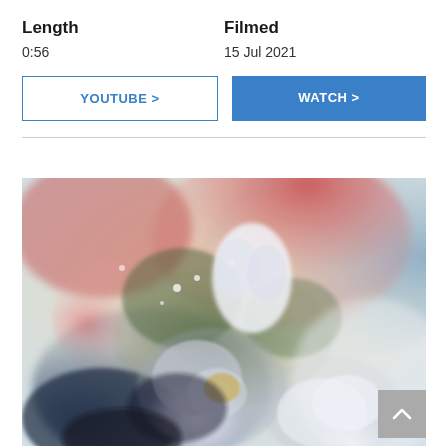Length
Filmed
0:56
15 Jul 2021
YOUTUBE >
WATCH >
[Figure (illustration): Watercolor painting of flowers including white roses and colorful blooms with soft washes of blue, red, pink, green, and purple hues on a light background.]